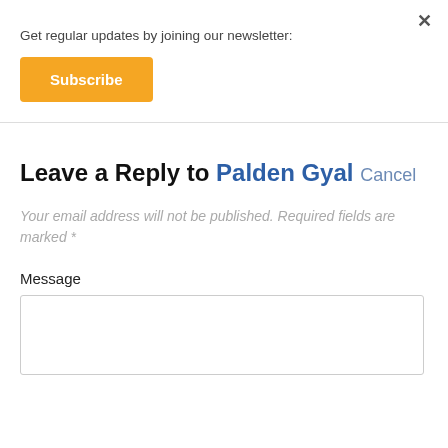×
Get regular updates by joining our newsletter:
Subscribe
Leave a Reply to Palden Gyal Cancel
Your email address will not be published. Required fields are marked *
Message